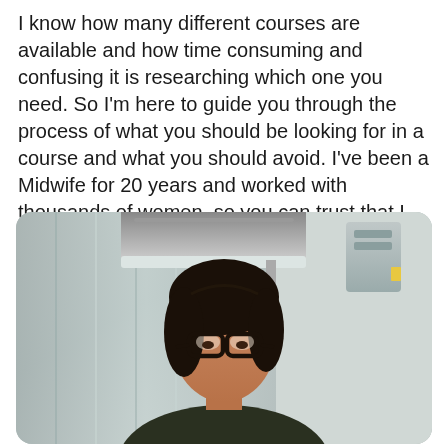I know how many different courses are available and how time consuming and confusing it is researching which one you need. So I'm here to guide you through the process of what you should be looking for in a course and what you should avoid. I've been a Midwife for 20 years and worked with thousands of women, so you can trust that I know exactly what you need that's going to fully prepare you for your best birth experience.
[Figure (photo): A woman with dark hair pulled back and wearing glasses, looking downward, photographed in what appears to be a medical or clinical setting with a curtain and medical equipment/light overhead. She is wearing dark clothing.]